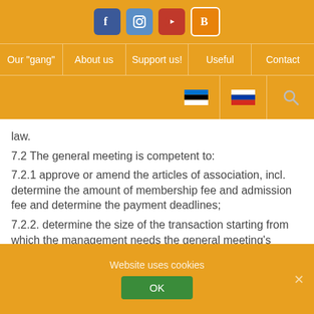Social media icons: Facebook, Instagram, YouTube, Blogger
Navigation: Our "gang", About us, Support us!, Useful, Contact
Language selector: Estonian flag, Russian flag, Search
law.
7.2 The general meeting is competent to:
7.2.1 approve or amend the articles of association, incl. determine the amount of membership fee and admission fee and determine the payment deadlines;
7.2.2. determine the size of the transaction starting from which the management needs the general meeting's approval;
Website uses cookies
OK